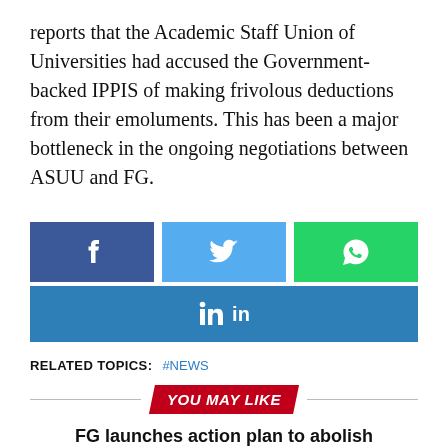reports that the Academic Staff Union of Universities had accused the Government-backed IPPIS of making frivolous deductions from their emoluments. This has been a major bottleneck in the ongoing negotiations between ASUU and FG.
[Figure (infographic): Social media share buttons: Facebook (blue), Twitter (light blue), WhatsApp (green) in a row, and LinkedIn (blue) spanning full width below]
RELATED TOPICS: #NEWS
YOU MAY LIKE
FG launches action plan to abolish statelessness